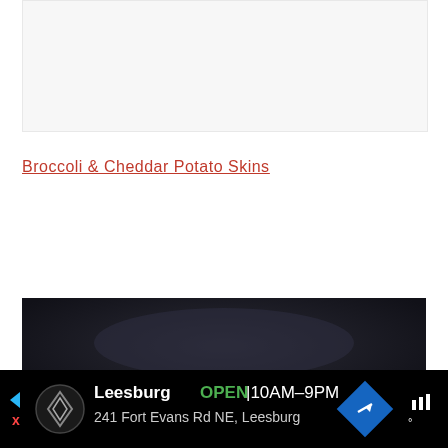[Figure (photo): Light gray/white background image area at the top of the page]
Broccoli & Cheddar Potato Skins
[Figure (photo): Food photo with dark background showing a broccoli and cheddar potato skin dish at the bottom of the page]
[Figure (screenshot): Advertisement banner for a Leesburg store showing OPEN 10AM-9PM at 241 Fort Evans Rd NE, Leesburg with a navigation arrow icon]